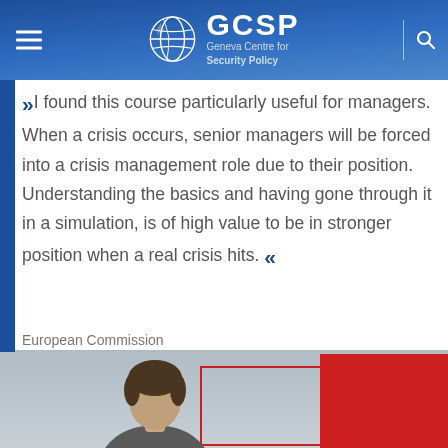GCSP Geneva Centre for Security Policy
“I found this course particularly useful for managers. When a crisis occurs, senior managers will be forced into a crisis management role due to their position. Understanding the basics and having gone through it in a simulation, is of high value to be in stronger position when a real crisis hits.”
European Commission
[Figure (photo): Partial photo of a person, with a red decorative box overlay in the bottom section of the page]